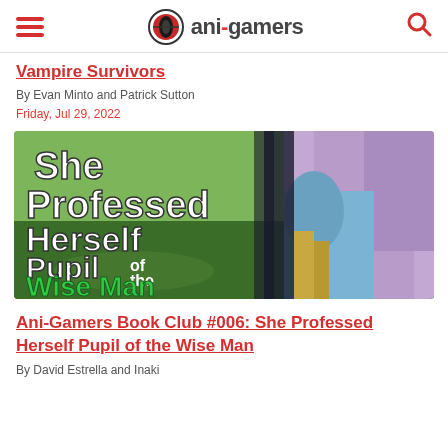ani-gamers
Vampire Survivors
By Evan Minto and Patrick Sutton
Friday, Jul 29, 2022
[Figure (illustration): Book cover art for 'She Professed Herself Pupil of the Wise Man' featuring anime-style character with purple hair in blue dress, with bold white and green text overlay]
Ani-Gamers Book Club #006: She Professed Herself Pupil of the Wise Man
By David Estrella and Inaki